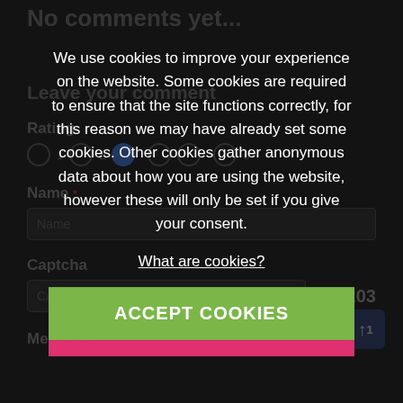No comments yet...
Leave your comment
Rating
Name *
Captcha
66203
Message *
[Figure (screenshot): Cookie consent modal overlay on a dark web page. Modal text reads: 'We use cookies to improve your experience on the website. Some cookies are required to ensure that the site functions correctly, for this reason we may have already set some cookies. Other cookies gather anonymous data about how you are using the website, however these will only be set if you give your consent.' Link: 'What are cookies?' Green button: 'ACCEPT COOKIES'. Pink/red button below partially visible.]